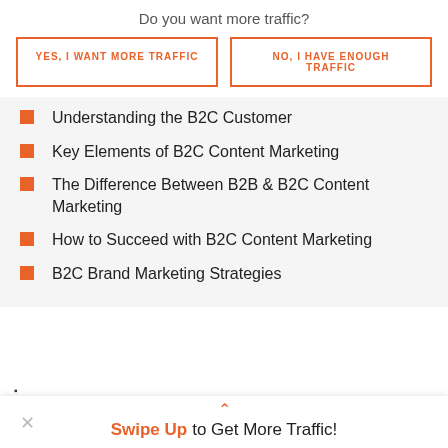Do you want more traffic?
YES, I WANT MORE TRAFFIC
NO, I HAVE ENOUGH TRAFFIC
Understanding the B2C Customer
Key Elements of B2C Content Marketing
The Difference Between B2B & B2C Content Marketing
How to Succeed with B2C Content Marketing
B2C Brand Marketing Strategies
Swipe Up to Get More Traffic!